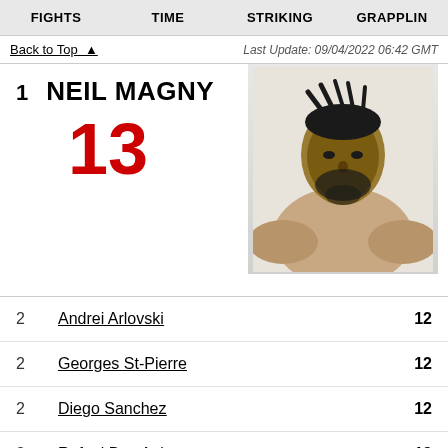FIGHTS | TIME | STRIKING | GRAPPLING
Back to Top ▲    Last Update: 09/04/2022 06:42 GMT
1  NEIL MAGNY  13
[Figure (photo): Portrait photo of Neil Magny, UFC fighter, shirtless with braided hair and beard]
2  Andrei Arlovski  12
2  Georges St-Pierre  12
2  Diego Sanchez  12
2  Rafael Dos Anjos  12